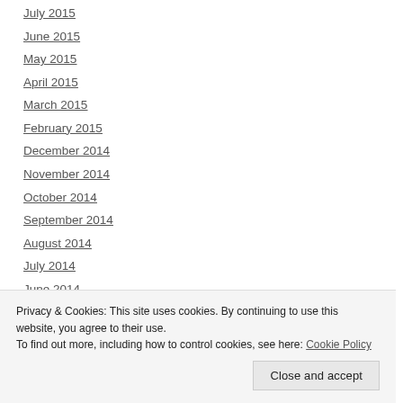July 2015
June 2015
May 2015
April 2015
March 2015
February 2015
December 2014
November 2014
October 2014
September 2014
August 2014
July 2014
June 2014
Privacy & Cookies: This site uses cookies. By continuing to use this website, you agree to their use.
To find out more, including how to control cookies, see here: Cookie Policy
Close and accept